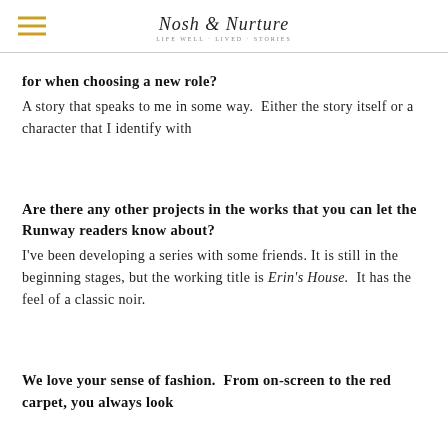Nosh & Nurture
for when choosing a new role?
A story that speaks to me in some way.  Either the story itself or a character that I identify with
Are there any other projects in the works that you can let the Runway readers know about?
I've been developing a series with some friends. It is still in the beginning stages, but the working title is Erin's House.  It has the feel of a classic noir.
We love your sense of fashion.  From on-screen to the red carpet, you always look